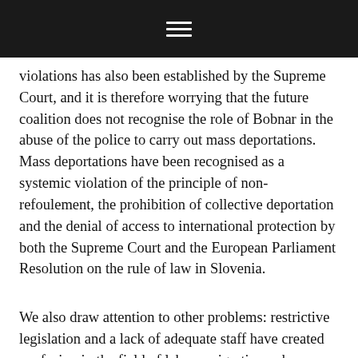violations has also been established by the Supreme Court, and it is therefore worrying that the future coalition does not recognise the role of Bobnar in the abuse of the police to carry out mass deportations. Mass deportations have been recognised as a systemic violation of the principle of non-refoulement, the prohibition of collective deportation and the denial of access to international protection by both the Supreme Court and the European Parliament Resolution on the rule of law in Slovenia.
We also draw attention to other problems: restrictive legislation and a lack of adequate staff have created confusion in the field of labour migration, where many foreign nationals and migrant workers wait for months before obtaining